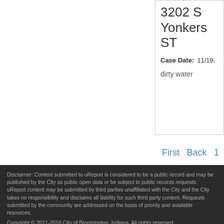3202 S Yonkers ST
Case Date: 11/19,
dirty water
First  Back  1
Disclaimer: Content submitted to uReport is considered to be a public record and may be published by the City as public open data or be subject to public records requests. uReport content may be submitted by third parties unaffiliated with the City and the City takes no responsibility and disclaims all liability for such third party content. Requests submitted by the community are addressed on the basis of priority and available resources.
Copyright © 2011-2016 City of Bloomington, Indiana. All rights reserved.
Powered by uReport version 2.3
This application is free software; you can redistribute it and/or modify it under the terms of the GNU Affero General Public License